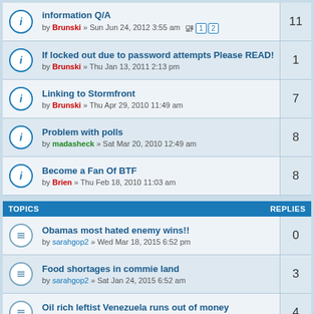information Q/A by Brunski » Sun Jun 24, 2012 3:55 am — replies: 11
If locked out due to password attempts Please READ! by Brunski » Thu Jan 13, 2011 2:13 pm — replies: 1
Linking to Stormfront by Brunski » Thu Apr 29, 2010 11:49 am — replies: 7
Problem with polls by madasheck » Sat Mar 20, 2010 12:49 am — replies: 8
Become a Fan Of BTF by Brien » Thu Feb 18, 2010 11:03 am — replies: 8
| TOPICS | REPLIES |
| --- | --- |
| Obamas most hated enemy wins!! by sarahgop2 » Wed Mar 18, 2015 6:52 pm | 0 |
| Food shortages in commie land by sarahgop2 » Sat Jan 24, 2015 6:52 am | 3 |
| Oil rich leftist Venezuela runs out of money by sarahgop2 » Sat Feb 22, 2014 11:23 pm | 4 |
| The Last Days of Vladimir Putin? by writeside » Tue Apr 15, 2014 7:44 am | 0 |
| Obama impotent as brave people eject stalinism in Ukraine by sarahgop2 » Sat Feb 22, 2014 5:38 pm | 0 |